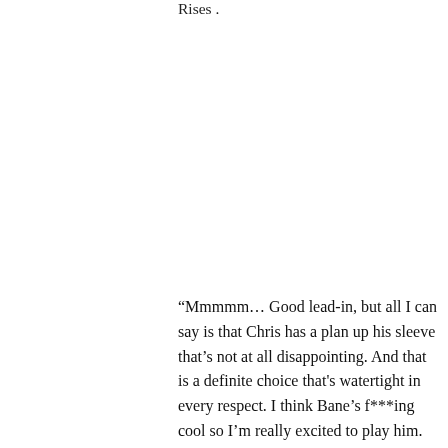Rises .
“Mmmmm… Good lead-in, but all I can say is that Chris has a plan up his sleeve that’s not at all disappointing. And that is a definite choice that's watertight in every respect. I think Bane’s f***ing cool so I’m really excited to play him. It's not the guy in Joel Schumacher’s film, but it shouldn’t disappoint fanboys…”, Hardy